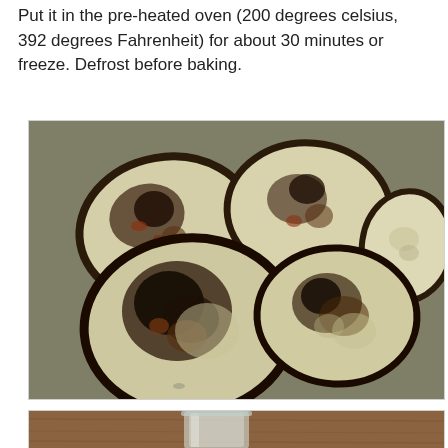Put it in the pre-heated oven (200 degrees celsius, 392 degrees Fahrenheit) for about 30 minutes or freeze. Defrost before baking.
[Figure (photo): Grilled or roasted eggplant slices arranged on an olive-green plate, showing charred and browned surfaces]
[Figure (photo): Partial view of a glass container on a wooden surface, partially visible at bottom of page]